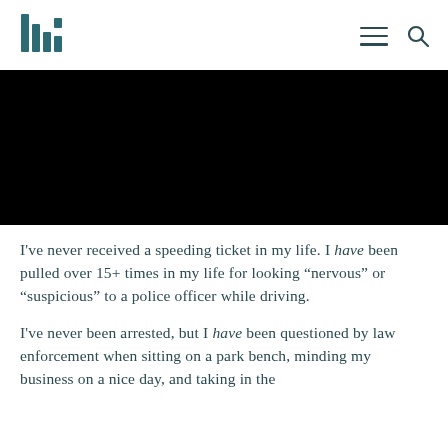[Logo] [Menu] [Search]
[Figure (photo): A large black rectangular image, fully black, serving as a hero/banner image for the article.]
I've never received a speeding ticket in my life. I have been pulled over 15+ times in my life for looking “nervous” or “suspicious” to a police officer while driving.
I've never been arrested, but I have been questioned by law enforcement when sitting on a park bench, minding my business on a nice day, and taking in the...